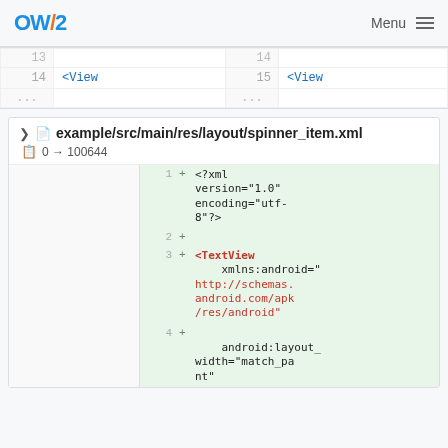OW2 Menu
| linenum | code | linenum | code |
| --- | --- | --- | --- |
| 13 |  | 14 |  |
| 14 | <View | 15 | <View |
| ... |  | ... |  |
example/src/main/res/layout/spinner_item.xml
0 → 100644
[Figure (screenshot): Code diff showing spinner_item.xml with added XML content: <?xml version="1.0" encoding="utf-8"?>, blank line, <TextView xmlns:android="http://schemas.android.com/apk/res/android", android:layout_width="match_pa..."]